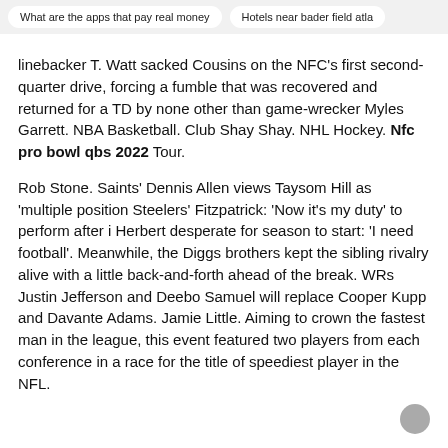What are the apps that pay real money   Hotels near bader field atla
linebacker T. Watt sacked Cousins on the NFC's first second-quarter drive, forcing a fumble that was recovered and returned for a TD by none other than game-wrecker Myles Garrett. NBA Basketball. Club Shay Shay. NHL Hockey. Nfc pro bowl qbs 2022 Tour.
Rob Stone. Saints' Dennis Allen views Taysom Hill as 'multiple position Steelers' Fitzpatrick: 'Now it's my duty' to perform after i Herbert desperate for season to start: 'I need football'. Meanwhile, the Diggs brothers kept the sibling rivalry alive with a little back-and-forth ahead of the break. WRs Justin Jefferson and Deebo Samuel will replace Cooper Kupp and Davante Adams. Jamie Little. Aiming to crown the fastest man in the league, this event featured two players from each conference in a race for the title of speediest player in the NFL.